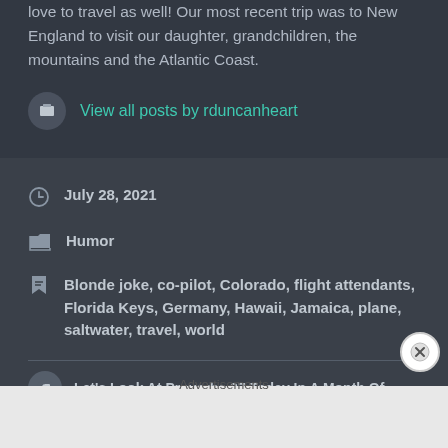love to travel as well! Our most recent trip was to New England to visit our daughter, grandchildren, the mountains and the Atlantic Coast.
View all posts by rduncanheart
July 28, 2021
Humor
Blonde joke, co-pilot, Colorado, flight attendants, Florida Keys, Germany, Hawaii, Jamaica, plane, saltwater, travel, world
Let's Look At Proverbs 27 Today In A Month Of
Advertisements